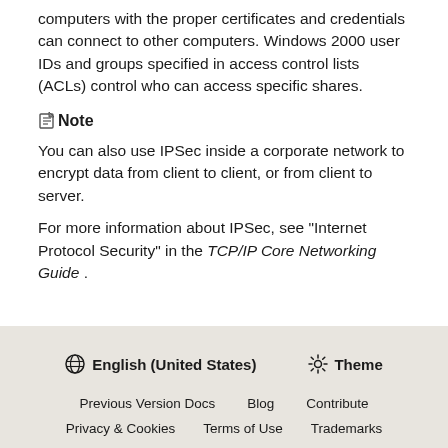computers with the proper certificates and credentials can connect to other computers. Windows 2000 user IDs and groups specified in access control lists (ACLs) control who can access specific shares.
Note
You can also use IPSec inside a corporate network to encrypt data from client to client, or from client to server.
For more information about IPSec, see "Internet Protocol Security" in the TCP/IP Core Networking Guide .
English (United States)  Theme  Previous Version Docs  Blog  Contribute  Privacy & Cookies  Terms of Use  Trademarks